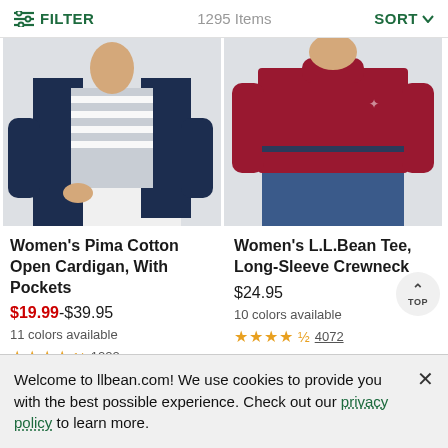FILTER    1295 Items    SORT
[Figure (photo): Woman wearing a navy blue open cardigan over a gray striped top with white pants]
[Figure (photo): Woman wearing a dark red long-sleeve crewneck tee with jeans]
Women's Pima Cotton Open Cardigan, With Pockets
$19.99-$39.95
11 colors available
★★★★½ 1222
Women's L.L.Bean Tee, Long-Sleeve Crewneck
$24.95
10 colors available
★★★★½ 4072
Welcome to llbean.com! We use cookies to provide you with the best possible experience. Check out our privacy policy to learn more.